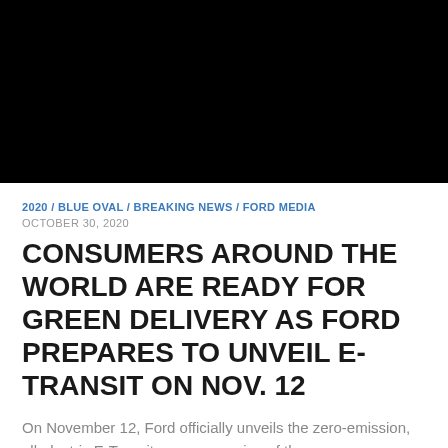[Figure (photo): Black rectangular image placeholder at top of article page]
2020 / BLUE OVAL / BREAKING NEWS / FORD MEDIA
OCTOBER 30, 2020
CONSUMERS AROUND THE WORLD ARE READY FOR GREEN DELIVERY AS FORD PREPARES TO UNVEIL E-TRANSIT ON NOV. 12
On November 12, Ford officially unveils the zero-emission, all-electric E-Transit – a new version of the